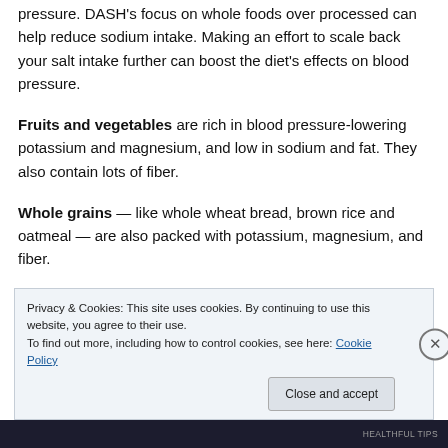pressure. DASH's focus on whole foods over processed can help reduce sodium intake. Making an effort to scale back your salt intake further can boost the diet's effects on blood pressure.
Fruits and vegetables are rich in blood pressure-lowering potassium and magnesium, and low in sodium and fat. They also contain lots of fiber.
Whole grains — like whole wheat bread, brown rice and oatmeal — are also packed with potassium, magnesium, and fiber.
Privacy & Cookies: This site uses cookies. By continuing to use this website, you agree to their use. To find out more, including how to control cookies, see here: Cookie Policy